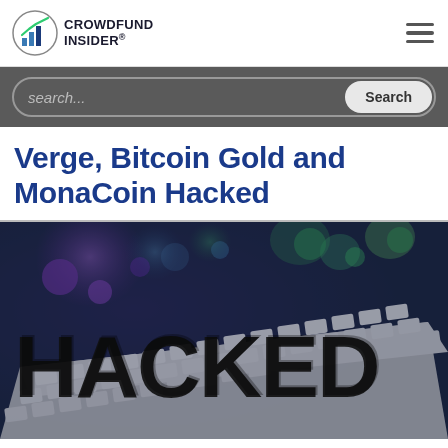CROWDFUND INSIDER
Verge, Bitcoin Gold and MonaCoin Hacked
[Figure (photo): Dark artistic image showing a keyboard with the word HACKED overlaid in bold black text, with colorful abstract background elements including purple and green circular shapes]